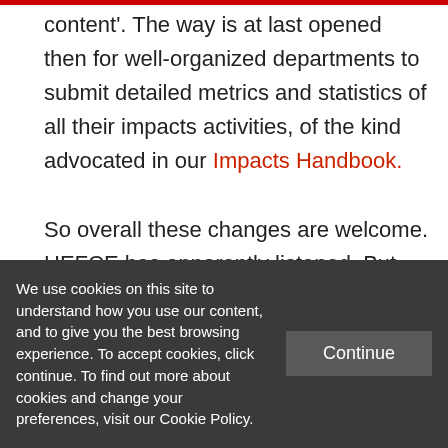content'. The way is at last opened then for well-organized departments to submit detailed metrics and statistics of all their impacts activities, of the kind advocated in our Impacts Handbook.
So overall these changes are welcome. HEFCE has apparently listened. But just as the academic assessment still ignores citations analysis, so the overwhelming
We use cookies on this site to understand how you use our content, and to give you the best browsing experience. To accept cookies, click continue. To find out more about cookies and change your preferences, visit our Cookie Policy.